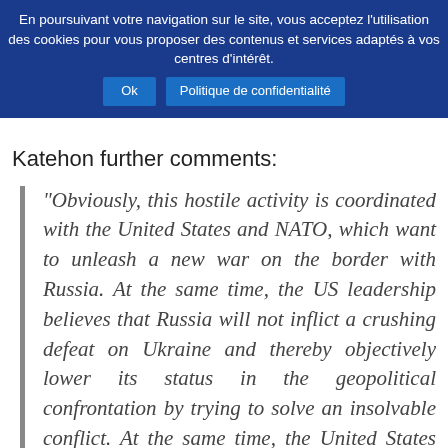En poursuivant votre navigation sur le site, vous acceptez l’utilisation des cookies pour vous proposer des contenus et services adaptés à vos centres d’intérêt. Ok Politique de confidentialité
Katehon further comments:
“Obviously, this hostile activity is coordinated with the United States and NATO, which want to unleash a new war on the border with Russia. At the same time, the US leadership believes that Russia will not inflict a crushing defeat on Ukraine and thereby objectively lower its status in the geopolitical confrontation by trying to solve an insolvable conflict. At the same time, the United States wants to